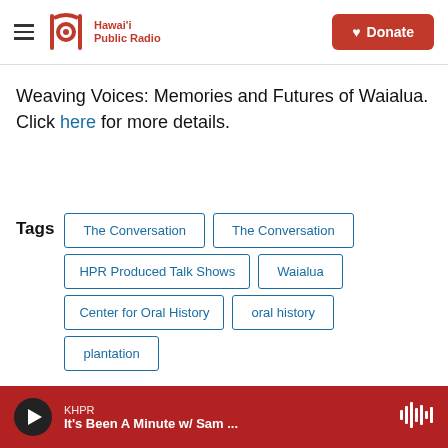Hawai'i Public Radio | Donate
Weaving Voices: Memories and Futures of Waialua. Click here for more details.
Tags: The Conversation | The Conversation | HPR Produced Talk Shows | Waialua | Center for Oral History | oral history | plantation
KHPR — It's Been A Minute w/ Sam ...